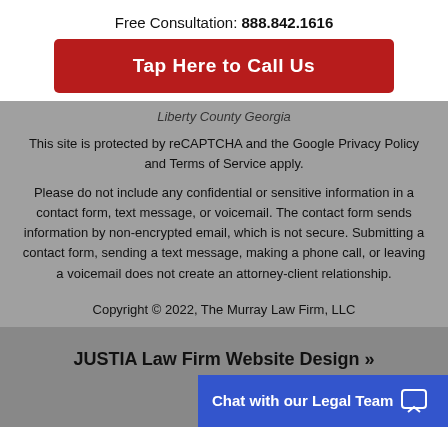Free Consultation: 888.842.1616
Tap Here to Call Us
Liberty County Georgia
This site is protected by reCAPTCHA and the Google Privacy Policy and Terms of Service apply.
Please do not include any confidential or sensitive information in a contact form, text message, or voicemail. The contact form sends information by non-encrypted email, which is not secure. Submitting a contact form, sending a text message, making a phone call, or leaving a voicemail does not create an attorney-client relationship.
Copyright © 2022, The Murray Law Firm, LLC
JUSTIA Law Firm Website Design »
Chat with our Legal Team